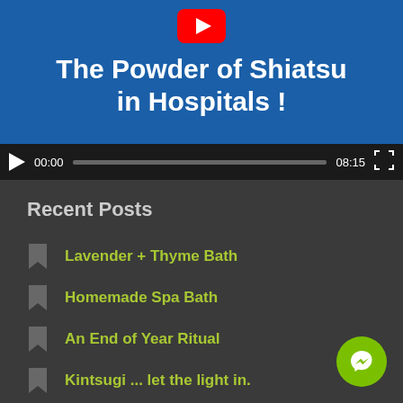[Figure (screenshot): YouTube video thumbnail showing title 'The Powder of Shiatsu in Hospitals !' on a blue background with a YouTube play icon, with video controls bar showing 00:00 / 08:15]
Recent Posts
Lavender + Thyme Bath
Homemade Spa Bath
An End of Year Ritual
Kintsugi ... let the light in.
Living with Fibromyalgia